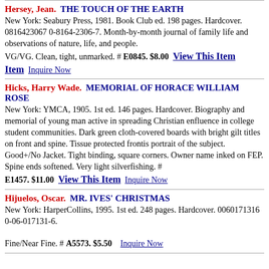Hersey, Jean. THE TOUCH OF THE EARTH New York: Seabury Press, 1981. Book Club ed. 198 pages. Hardcover. 0816423067 0-8164-2306-7. Month-by-month journal of family life and observations of nature, life, and people. VG/VG. Clean, tight, unmarked. # E0845. $8.00 View This Item Inquire Now
Hicks, Harry Wade. MEMORIAL OF HORACE WILLIAM ROSE New York: YMCA, 1905. 1st ed. 146 pages. Hardcover. Biography and memorial of young man active in spreading Christian enfluence in college student communities. Dark green cloth-covered boards with bright gilt titles on front and spine. Tissue protected frontis portrait of the subject. Good+/No Jacket. Tight binding, square corners. Owner name inked on FEP. Spine ends softened. Very light silverfishing. # E1457. $11.00 View This Item Inquire Now
Hijuelos, Oscar. MR. IVES' CHRISTMAS New York: HarperCollins, 1995. 1st ed. 248 pages. Hardcover. 0060171316 0-06-017131-6. Fine/Near Fine. # A5573. $5.50 Inquire Now